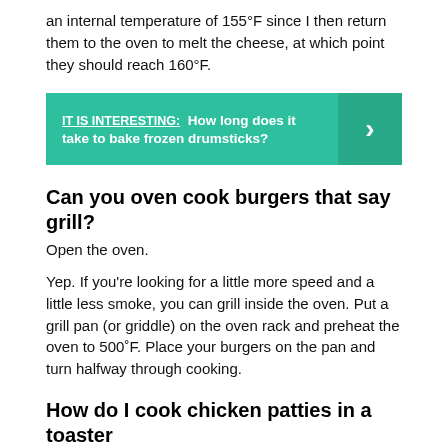an internal temperature of 155°F since I then return them to the oven to melt the cheese, at which point they should reach 160°F.
[Figure (infographic): Teal banner with text: IT IS INTERESTING: How long does it take to bake frozen drumsticks? with a right-pointing chevron arrow on the darker right panel.]
Can you oven cook burgers that say grill?
Open the oven.
Yep. If you're looking for a little more speed and a little less smoke, you can grill inside the oven. Put a grill pan (or griddle) on the oven rack and preheat the oven to 500˚F. Place your burgers on the pan and turn halfway through cooking.
How do I cook chicken patties in a toaster